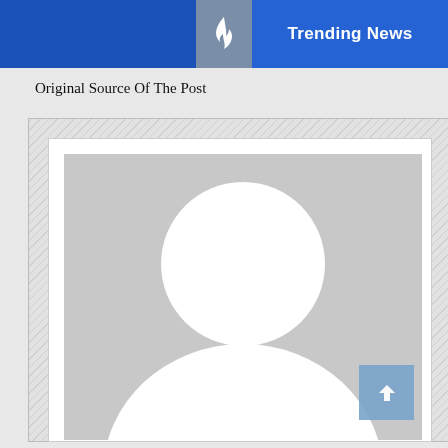Trending News
Original Source Of The Post
[Figure (photo): Default user avatar placeholder image — grey background with white silhouette of a person (head circle and body/shoulder shape)]